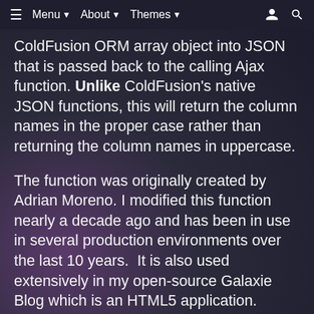≡  Menu ▾  About ▾  Themes ▾  👤  🔍
ColdFusion ORM array object into JSON that is passed back to the calling Ajax function. Unlike ColdFusion's native JSON functions, this will return the column names in the proper case rather than returning the column names in uppercase.
The function was originally created by Adrian Moreno. I modified this function nearly a decade ago and has been in use in several production environments over the last 10 years.  It is also used extensively in my open-source Galaxie Blog which is an HTML5 application. These two functions have been tested thoroughly and have handled server-side data operations on nearly every jQuery-based HTML5 widget that I have used.
There may be something in the CF world that is a little more modern than this, however, I have